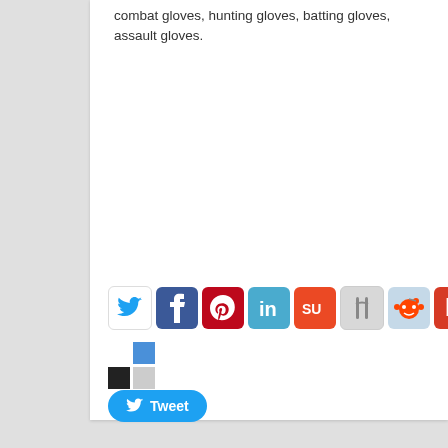combat gloves, hunting gloves, batting gloves, assault gloves.
[Figure (other): Row of social sharing icon buttons: Twitter (blue bird), Facebook (blue F), Pinterest (red P), LinkedIn (teal in), StumbleUpon (orange SU), Delicious (grey utensils icon), Reddit (alien face), Bebo (red b)]
[Figure (logo): Share2 logo: black and blue squares arranged in a 2x2 grid pattern]
[Figure (other): Tweet button: rounded blue button with Twitter bird icon and 'Tweet' text in white]